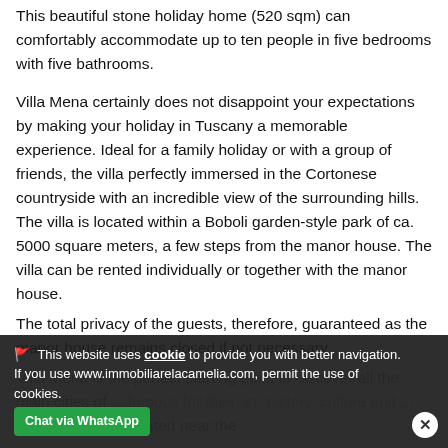This beautiful stone holiday home (520 sqm) can comfortably accommodate up to ten people in five bedrooms with five bathrooms.
Villa Mena certainly does not disappoint your expectations by making your holiday in Tuscany a memorable experience. Ideal for a family holiday or with a group of friends, the villa perfectly immersed in the Cortonese countryside with an incredible view of the surrounding hills. The villa is located within a Boboli garden-style park of ca. 5000 square meters, a few steps from the manor house. The villa can be rented individually or together with the manor house.
The total privacy of the guests, therefore, guaranteed as the manor house remains closed if not necessary.
Villa Mena is the perfect starting point to discover all the main cities of ... famous for their art, history, culture and ... property is also located near the ...
🚩 This website uses cookie to provide you with better navigation. If you use www.immobiliarelacamelia.com, permit the use of cookies.